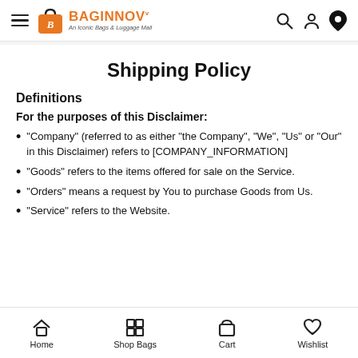BAGINNOV — An Iconic Bags & Luggage Mall
Shipping Policy
Definitions
For the purposes of this Disclaimer:
"Company" (referred to as either "the Company", "We", "Us" or "Our" in this Disclaimer) refers to [COMPANY_INFORMATION]
"Goods" refers to the items offered for sale on the Service.
"Orders" means a request by You to purchase Goods from Us.
"Service" refers to the Website.
Home | Shop Bags | Cart | Wishlist